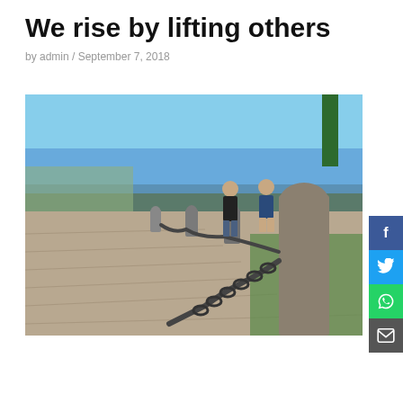We rise by lifting others
by admin / September 7, 2018
[Figure (photo): Outdoor photo of a cobblestone path lined with stone bollards connected by iron chains. Two people walk in the background toward a seaside horizon under a clear sky. The photo is taken from a low angle emphasizing the chain and bollards in the foreground.]
[Figure (infographic): Social media sharing sidebar with Facebook (blue), Twitter (light blue), WhatsApp (green), and Email (dark grey) buttons displayed vertically on the right edge.]